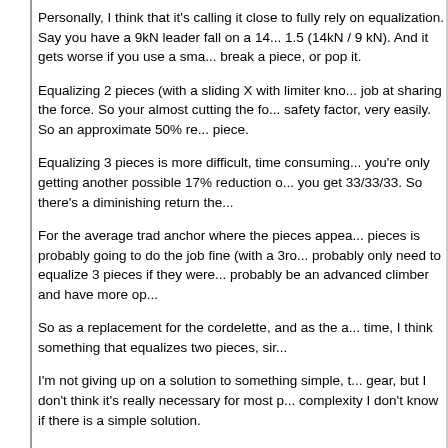Personally, I think that it's calling it close to fully rely on equalization. Say you have a 9kN leader fall on a 14... 1.5 (14kN / 9 kN). And it gets worse if you use a sma... break a piece, or pop it.
Equalizing 2 pieces (with a sliding X with limiter kno... job at sharing the force. So your almost cutting the fo... safety factor, very easily. So an approximate 50% re... piece.
Equalizing 3 pieces is more difficult, time consuming... you're only getting another possible 17% reduction o... you get 33/33/33. So there's a diminishing return the...
For the average trad anchor where the pieces appea... pieces is probably going to do the job fine (with a 3ro... probably only need to equalize 3 pieces if they were... probably be an advanced climber and have more op...
So as a replacement for the cordelette, and as the a... time, I think something that equalizes two pieces, sir...
I'm not giving up on a solution to something simple, t... gear, but I don't think it's really necessary for most p... complexity I don't know if there is a simple solution.
A couple points (that have been addressed before b...